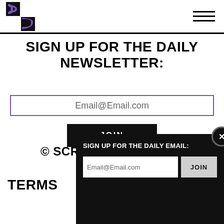Screen Slate logo and navigation
SIGN UP FOR THE DAILY NEWSLETTER:
Email@Email.com
JOIN
© SCREEN SLATE 2010-2024
TERMS
[Figure (screenshot): Popup modal with black background: 'SIGN UP FOR THE DAILY EMAIL:' header, Email@Email.com input field, JOIN button, and X close button]